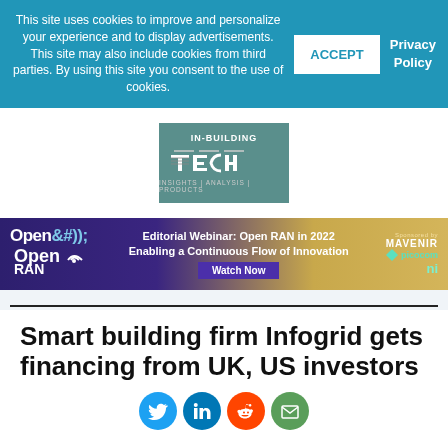This site uses cookies to improve and personalize your experience and to display advertisements. This site may also include cookies from third parties. By using this site you consent to the use of cookies.
ACCEPT
Privacy Policy
[Figure (logo): In-Building Tech logo with teal background showing stylized TECH text, INSIGHTS|ANALYSIS|PRODUCTS subtitle]
[Figure (infographic): OpenRAN editorial webinar ad banner: 'Editorial Webinar: Open RAN in 2022 Enabling a Continuous Flow of Innovation, Watch Now', sponsored by Mavenir and Picocom]
Smart building firm Infogrid gets financing from UK, US investors
[Figure (other): Social sharing icons: Twitter, LinkedIn, Reddit, Email]